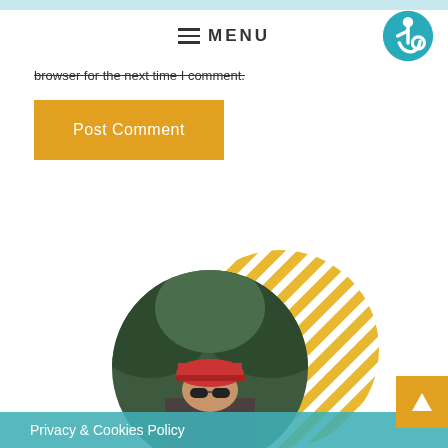MENU
browser for the next time I comment.
Post Comment
[Figure (photo): Circular profile photo of a person wearing a red cap and sunglasses, in front of green foliage. Background has diagonal yellow/gold stripes pattern.]
Privacy & Cookies Policy